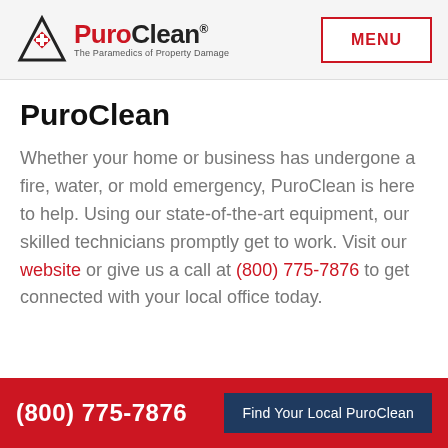PuroClean - The Paramedics of Property Damage | MENU
PuroClean
Whether your home or business has undergone a fire, water, or mold emergency, PuroClean is here to help. Using our state-of-the-art equipment, our skilled technicians promptly get to work. Visit our website or give us a call at (800) 775-7876 to get connected with your local office today.
(800) 775-7876 | Find Your Local PuroClean